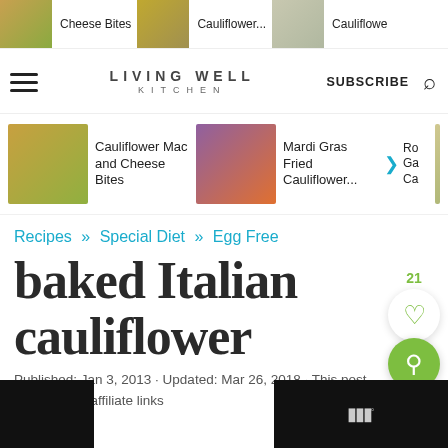Cheese Bites  Cauliflower...  Cauliflower
[Figure (screenshot): Living Well Kitchen website navigation bar with logo, SUBSCRIBE button, and search icon]
[Figure (screenshot): Related posts row with three food images: Cauliflower Mac and Cheese Bites, Mardi Gras Fried Cauliflower..., and a third partially visible item]
Recipes » Special Diet » Egg Free
baked Italian cauliflower
Published: Jan 3, 2013 · Updated: Mar 26, 2018 · This post may contain affiliate links